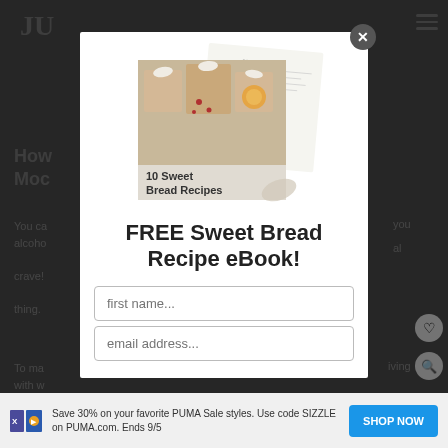[Figure (screenshot): Website popup modal overlay on a recipe/food blog. Shows a modal with a cookbook image ('10 Sweet Bread Recipes'), promotional text 'FREE Sweet Bread Recipe eBook!', two input fields (first name, email address), overlaid on a dimmed webpage background with partial article text visible. A bottom ad bar shows PUMA sale advertisement with 'SHOP NOW' button.]
FREE Sweet Bread Recipe eBook!
first name...
email address...
Save 30% on your favorite PUMA Sale styles. Use code SIZZLE on PUMA.com. Ends 9/5
SHOP NOW